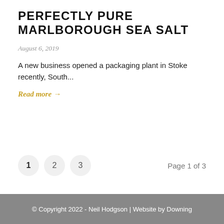PERFECTLY PURE MARLBOROUGH SEA SALT
August 6, 2019
A new business opened a packaging plant in Stoke recently, South...
Read more →
1  2  3    Page 1 of 3
© Copyright 2022 - Neil Hodgson | Website by Downing